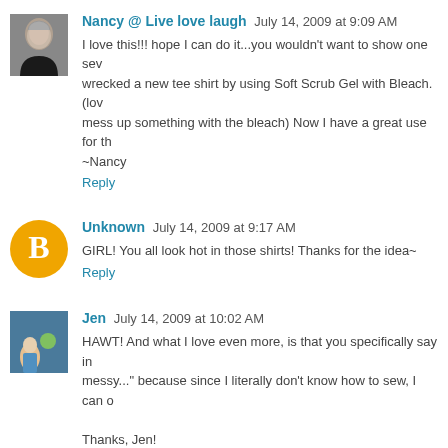[Figure (photo): Avatar photo of Nancy, a woman with short gray hair]
Nancy @ Live love laugh  July 14, 2009 at 9:09 AM
I love this!!! hope I can do it...you wouldn't want to show one sew wrecked a new tee shirt by using Soft Scrub Gel with Bleach. (lov mess up something with the bleach) Now I have a great use for th ~Nancy
Reply
[Figure (logo): Blogger default avatar - orange circle with white B]
Unknown  July 14, 2009 at 9:17 AM
GIRL! You all look hot in those shirts! Thanks for the idea~
Reply
[Figure (photo): Avatar photo of Jen, child in outdoor scene]
Jen  July 14, 2009 at 10:02 AM
HAWT! And what I love even more, is that you specifically say in messy..." because since I literally don't know how to sew, I can on

Thanks, Jen!
Reply
[Figure (photo): Avatar photo of Rachel@oneprettything.com]
Rachel@oneprettything.com  July 14, 2009 at 3:28 PM